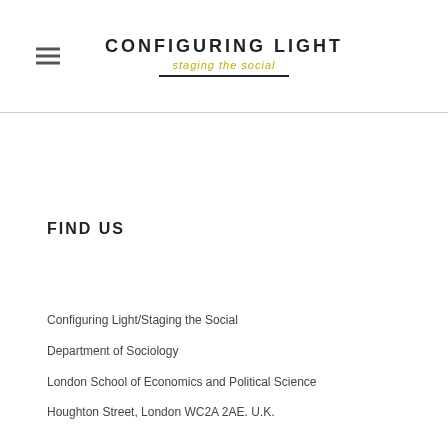CONFIGURING LIGHT / staging the social
FIND US
Configuring Light/Staging the Social
Department of Sociology
London School of Economics and Political Science
Houghton Street, London WC2A 2AE. U.K.